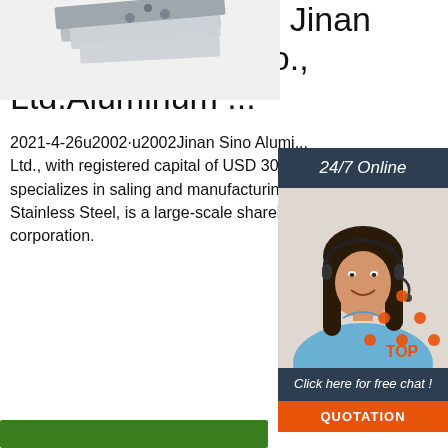[Figure (photo): Aluminum sheet product photo, metallic silver pieces viewed from above]
[Figure (photo): 24/7 Online customer service representative, woman with headset smiling, dark hair]
Aluminum Sheet - Jinan Sino Aluminum Co., Ltd.Aluminum ...
2021-4-26u2002·u2002Jinan Sino Alumi... Ltd., with registered capital of USD 30,000,000, specializes in saling and manufacturing of Stainless Steel, is a large-scale shareholding steel corporation.
[Figure (logo): TOP logo with orange dots arranged in triangle above text TOP]
[Figure (other): Green bar / button at bottom of page]